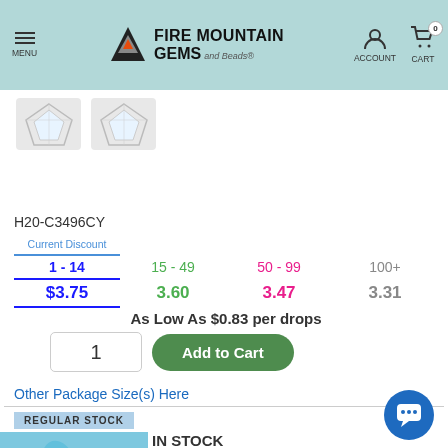MENU | FIRE MOUNTAIN GEMS and Beads | ACCOUNT | CART 0
[Figure (photo): Two heart-shaped crystal/diamond gemstones, clear/white, shown as product images]
H20-C3496CY
| Current Discount
1 - 14 | 15 - 49 | 50 - 99 | 100+ |
| --- | --- | --- | --- |
| $3.75 | 3.60 | 3.47 | 3.31 |
As Low As $0.83 per drops
1 | Add to Cart
Other Package Size(s) Here
REGULAR STOCK
[Figure (photo): Turquoise/light blue opaque puffed teardrop glass beads, multiple beads shown]
IN STOCK
Drop, Preciosa, Czech pressed glass, opaque light Maya blue, 21x11mm puffed teardrop. Sold per pkg o...